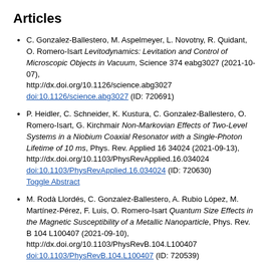Articles
C. Gonzalez-Ballestero, M. Aspelmeyer, L. Novotny, R. Quidant, O. Romero-Isart Levitodynamics: Levitation and Control of Microscopic Objects in Vacuum, Science 374 eabg3027 (2021-10-07), http://dx.doi.org/10.1126/science.abg3027 doi:10.1126/science.abg3027 (ID: 720691)
P. Heidler, C. Schneider, K. Kustura, C. Gonzalez-Ballestero, O. Romero-Isart, G. Kirchmair Non-Markovian Effects of Two-Level Systems in a Niobium Coaxial Resonator with a Single-Photon Lifetime of 10 ms, Phys. Rev. Applied 16 34024 (2021-09-13), http://dx.doi.org/10.1103/PhysRevApplied.16.034024 doi:10.1103/PhysRevApplied.16.034024 (ID: 720630) Toggle Abstract
M. Rodà Llordés, C. Gonzalez-Ballestero, A. Rubio López, M. Martínez-Pérez, F. Luis, O. Romero-Isart Quantum Size Effects in the Magnetic Susceptibility of a Metallic Nanoparticle, Phys. Rev. B 104 L100407 (2021-09-10), http://dx.doi.org/10.1103/PhysRevB.104.L100407 doi:10.1103/PhysRevB.104.L100407 (ID: 720539)
K. Kustura, O. Romero-Isart, C. Gonzalez-Ballestero Effective quantum dynamics induced by a driven two-level